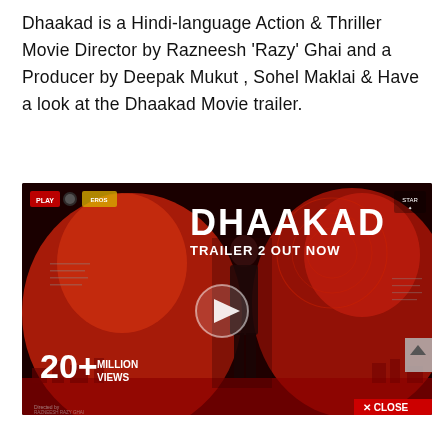Dhaakad is a Hindi-language Action & Thriller Movie Director by Razneesh 'Razy' Ghai and a Producer by Deepak Mukut , Sohel Maklai & Have a look at the Dhaakad Movie trailer.
[Figure (screenshot): Dhaakad movie trailer thumbnail showing DHAAKAD title text, TRAILER 2 OUT NOW subtitle, 20+ MILLION VIEWS text, a play button in the center, a female character in black outfit, large red-tinted face silhouettes on both sides, and a CLOSE button at bottom right.]